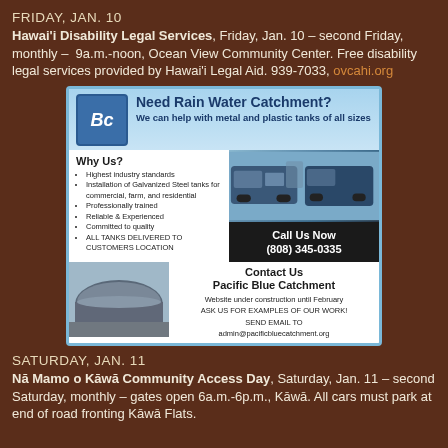FRIDAY, JAN. 10
Hawai'i Disability Legal Services, Friday, Jan. 10 – second Friday, monthly – 9a.m.-noon, Ocean View Community Center. Free disability legal services provided by Hawai'i Legal Aid. 939-7033, ovcahi.org
[Figure (other): Advertisement for Pacific Blue Catchment rainwater catchment services. Logo with 'BC' text, heading 'Need Rain Water Catchment? We can help with metal and plastic tanks of all sizes', Why Us section with bullet points, photo of trucks, phone number (808) 345-0335, contact info including admin@pacificbluecatchment.org]
SATURDAY, JAN. 11
Nā Mamo o Kāwā Community Access Day, Saturday, Jan. 11 – second Saturday, monthly – gates open 6a.m.-6p.m., Kāwā. All cars must park at end of road fronting Kāwā Flats.